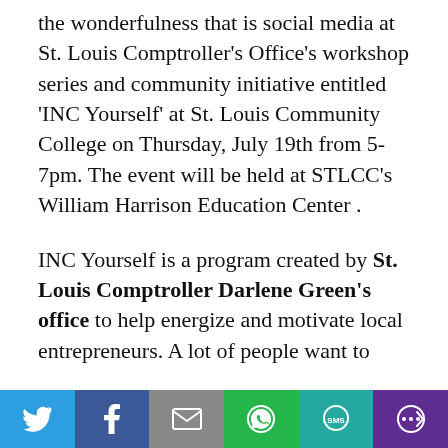the wonderfulness that is social media at St. Louis Comptroller's Office's workshop series and community initiative entitled 'INC Yourself' at St. Louis Community College on Thursday, July 19th from 5-7pm. The event will be held at STLCC's William Harrison Education Center .
INC Yourself is a program created by St. Louis Comptroller Darlene Green's office to help energize and motivate local entrepreneurs. A lot of people want to
[Figure (infographic): Social media sharing bar with icons for Twitter, Facebook, Email, WhatsApp, SMS, and More options]